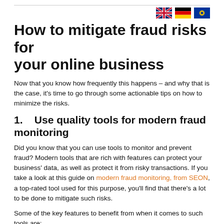[Figure (illustration): Three country flag icons displayed top-right: UK flag, German flag, EU flag]
How to mitigate fraud risks for your online business
Now that you know how frequently this happens – and why that is the case, it's time to go through some actionable tips on how to minimize the risks.
1.   Use quality tools for modern fraud monitoring
Did you know that you can use tools to monitor and prevent fraud? Modern tools that are rich with features can protect your business' data, as well as protect it from risky transactions. If you take a look at this guide on modern fraud monitoring, from SEON, a top-rated tool used for this purpose, you'll find that there's a lot to be done to mitigate such risks.
Some of the key features to benefit from when it comes to such tools are: